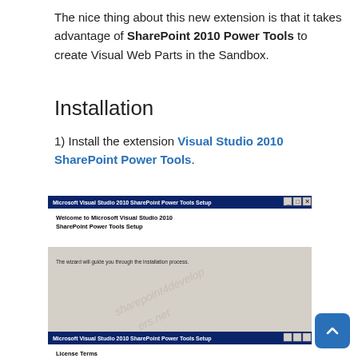The nice thing about this new extension is that it takes advantage of SharePoint 2010 Power Tools to create Visual Web Parts in the Sandbox.
Installation
1) Install the extension Visual Studio 2010 SharePoint Power Tools.
[Figure (screenshot): Microsoft Visual Studio 2010 SharePoint Power Tools Setup wizard welcome screen with watermark 'sharepoint4developers.net'. Shows 'Welcome to Microsoft Visual Studio 2010 SharePoint Power Tools Setup' heading and 'The wizard will guide you through the installation process.' text, with Next and Cancel buttons.]
[Figure (screenshot): Microsoft Visual Studio 2010 SharePoint Power Tools Setup - License Terms screen (partially visible at bottom of page).]